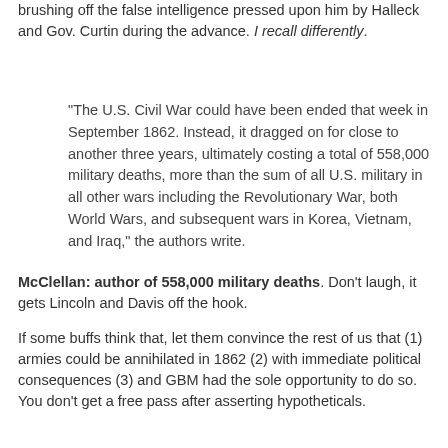brushing off the false intelligence pressed upon him by Halleck and Gov. Curtin during the advance. I recall differently.
"The U.S. Civil War could have been ended that week in September 1862. Instead, it dragged on for close to another three years, ultimately costing a total of 558,000 military deaths, more than the sum of all U.S. military in all other wars including the Revolutionary War, both World Wars, and subsequent wars in Korea, Vietnam, and Iraq," the authors write.
McClellan: author of 558,000 military deaths. Don't laugh, it gets Lincoln and Davis off the hook.
If some buffs think that, let them convince the rest of us that (1) armies could be annihilated in 1862 (2) with immediate political consequences (3) and GBM had the sole opportunity to do so. You don't get a free pass after asserting hypotheticals.